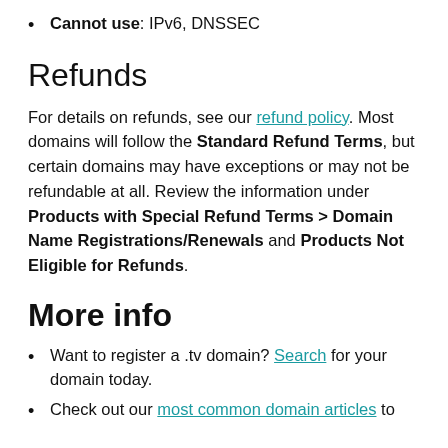Cannot use: IPv6, DNSSEC
Refunds
For details on refunds, see our refund policy. Most domains will follow the Standard Refund Terms, but certain domains may have exceptions or may not be refundable at all. Review the information under Products with Special Refund Terms > Domain Name Registrations/Renewals and Products Not Eligible for Refunds.
More info
Want to register a .tv domain? Search for your domain today.
Check out our most common domain articles to